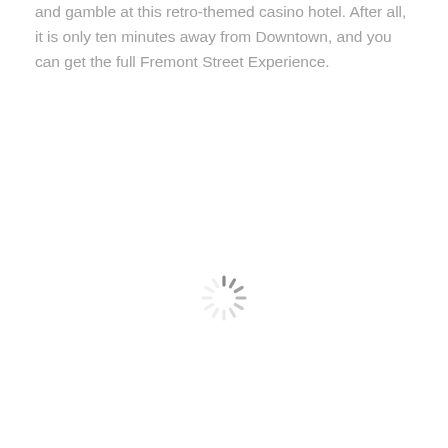and gamble at this retro-themed casino hotel. After all, it is only ten minutes away from Downtown, and you can get the full Fremont Street Experience.
[Figure (other): A loading spinner (circular dashed/segmented spinner icon) centered on the page, rendered in gray.]